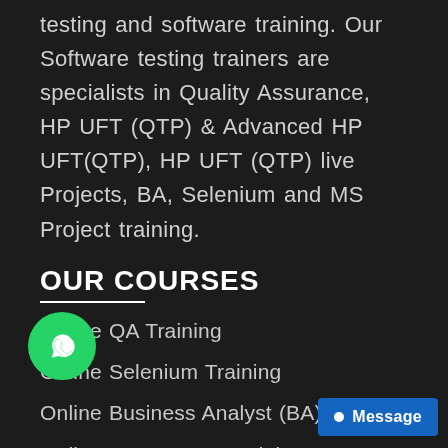testing and software training. Our Software testing trainers are specialists in Quality Assurance, HP UFT (QTP) & Advanced HP UFT(QTP), HP UFT (QTP) live Projects, BA, Selenium and MS Project training.
OUR COURSES
Online QA Training
Online Selenium Training
Online Business Analyst (BA) Training
Online SQL Server Training
Online ISTQB Training
Online Project Training
LoadRunner – Performance Testing Training
SOAP API Testing Training
Online JMeter Training